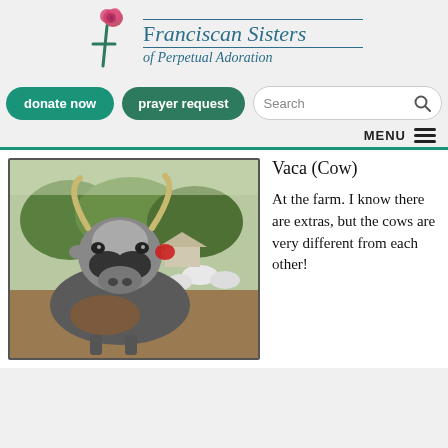[Figure (logo): Franciscan Sisters of Perpetual Adoration logo with rose and cross icon]
donate now   prayer request   Search
MENU
[Figure (photo): A cow facing the camera at a farm with other cattle in the background and trees visible]
Vaca (Cow)
At the farm. I know there are extras, but the cows are very different from each other!